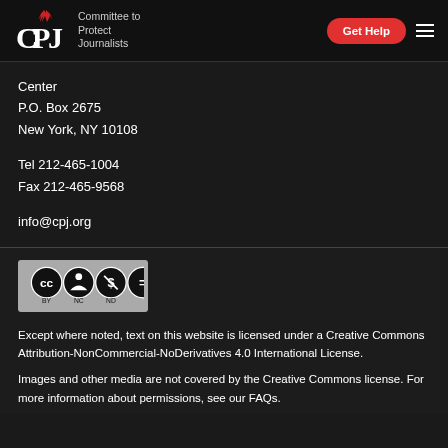CPJ — Committee to Protect Journalists | Get Help
Center
P.O. Box 2675
New York, NY 10108
Tel 212-465-1004
Fax 212-465-9568
info@cpj.org
[Figure (logo): Creative Commons BY-NC-ND license badge with four circular icons: CC, person (BY), dollar-sign crossed (NC), equals sign (ND)]
Except where noted, text on this website is licensed under a Creative Commons Attribution-NonCommercial-NoDerivatives 4.0 International License.
Images and other media are not covered by the Creative Commons license. For more information about permissions, see our FAQs.